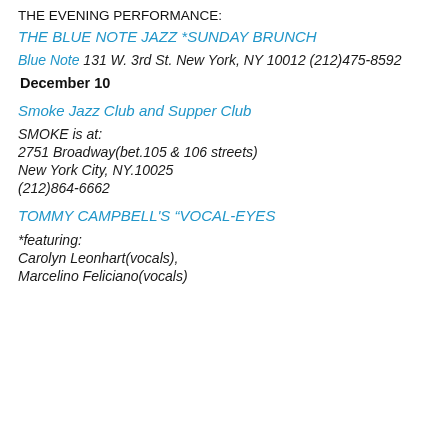THE EVENING PERFORMANCE:
THE BLUE NOTE JAZZ *SUNDAY BRUNCH
Blue Note 131 W. 3rd St. New York, NY 10012 (212)475-8592
December 10
Smoke Jazz Club and Supper Club
SMOKE is at:
2751 Broadway(bet.105 & 106 streets)
New York City, NY.10025
(212)864-6662
TOMMY CAMPBELL'S “VOCAL-EYES
*featuring:
Carolyn Leonhart(vocals),
Marcelino Feliciano(vocals)